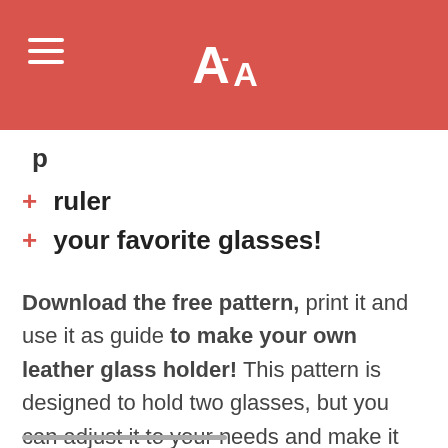AA font size icon with hamburger menu
+ ruler
+ your favorite glasses!
Download the free pattern, print it and use it as guide to make your own leather glass holder! This pattern is designed to hold two glasses, but you can adjust it to your needs and make it longer to hold several pairs.